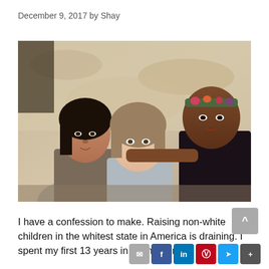December 9, 2017 by Shay
[Figure (photo): Three young women of different ethnicities posing together outdoors against a sandy/rocky background. The woman on the left has dark hair, the woman in the center has light brown hair and is smiling broadly, and the woman on the right has dark skin and is wearing a floral headband.]
I have a confession to make. Raising non-white children in the whitest state in America is draining. I spent my first 13 years in Maine living